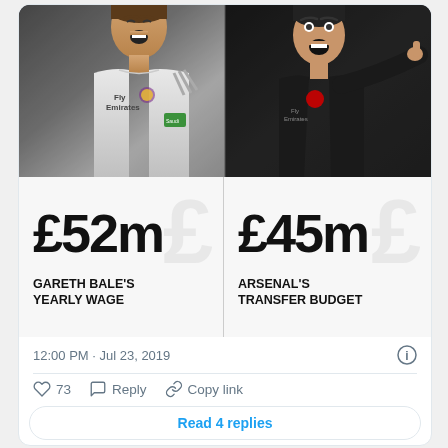[Figure (photo): Composite photo: left half shows Gareth Bale in white Real Madrid Fly Emirates jersey laughing/celebrating; right half shows Unai Emery in dark Arsenal jacket pointing, dark background]
£52m
GARETH BALE'S YEARLY WAGE
£45m
ARSENAL'S TRANSFER BUDGET
12:00 PM · Jul 23, 2019
73
Reply
Copy link
Read 4 replies